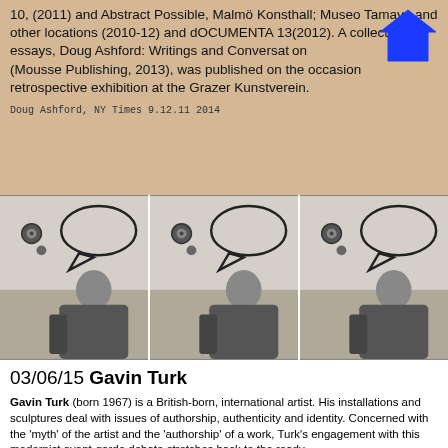10, (2011) and Abstract Possible, Malmö Konsthall; Museo Tamayo and other locations (2010-12) and dOCUMENTA 13(2012). A collection of essays, Doug Ashford: Writings and Conversations (Mousse Publishing, 2013), was published on the occasion of a retrospective exhibition at the Grazer Kunstverein.
Doug Ashford, NY Times 9.12.11  2014
[Figure (photo): Three repeated black-and-white photographs of a bald man seated, with a speech bubble drawn on the wall behind him]
03/06/15 Gavin Turk
Gavin Turk (born 1967) is a British-born, international artist. His installations and sculptures deal with issues of authorship, authenticity and identity. Concerned with the 'myth' of the artist and the 'authorship' of a work, Turk's engagement with this modernist avant-garde debate stretches back to the ready-